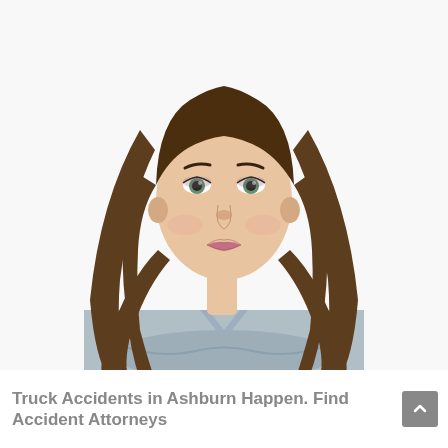alldelish.com
[Figure (photo): Professional woman with long brown hair, wearing a light blue blazer, arms crossed, posing against a white background. She appears to be a professional or attorney.]
Truck Accidents in Ashburn Happen. Find Accident Attorneys